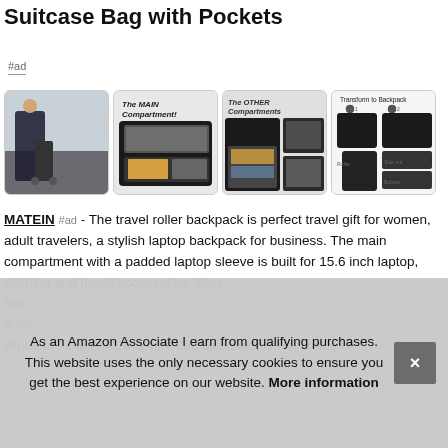Suitcase Bag with Pockets
#ad
[Figure (photo): Four product images of a wheeled rolling backpack/suitcase: 1) Person with luggage, 2) Main compartment open, 3) Other compartments open, 4) Transform to backpack diagram]
MATEIN #ad - The travel roller backpack is perfect travel gift for women, adult travelers, a stylish laptop backpack for business. The main compartment with a padded laptop sleeve is built for 15.6 inch laptop, clothing and travel accessories. Con[tinues] bac[kpack] 5 in[ch] Protective material, this wheeled backpack is well made of
As an Amazon Associate I earn from qualifying purchases. This website uses the only necessary cookies to ensure you get the best experience on our website. More information